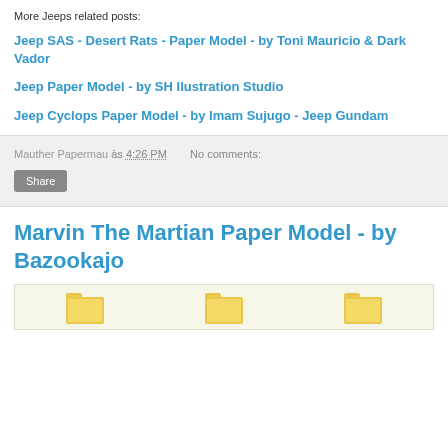More Jeeps related posts:
Jeep SAS - Desert Rats - Paper Model - by Toni Mauricio & Dark Vador
Jeep Paper Model - by SH Ilustration Studio
Jeep Cyclops Paper Model - by Imam Sujugo - Jeep Gundam
Mauther Papermau às 4:26 PM   No comments:
Share
Marvin The Martian Paper Model - by Bazookajo
[Figure (photo): Folder icons partially visible at bottom of page]